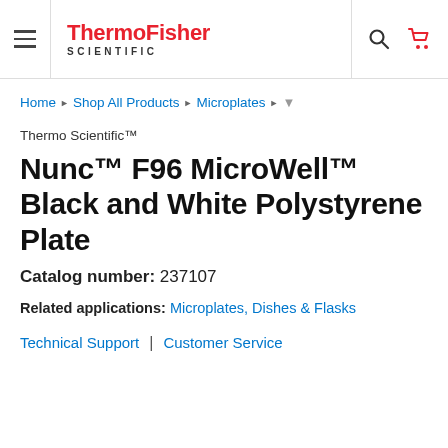ThermoFisher SCIENTIFIC
Home ▶ Shop All Products ▶ Microplates ▶
Thermo Scientific™
Nunc™ F96 MicroWell™ Black and White Polystyrene Plate
Catalog number: 237107
Related applications: Microplates, Dishes & Flasks
Technical Support | Customer Service